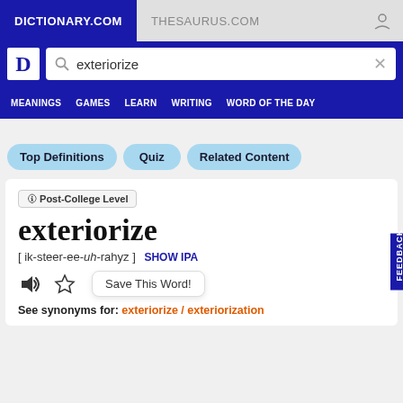DICTIONARY.COM   THESAURUS.COM
[Figure (screenshot): Dictionary.com logo with search box containing 'exteriorize']
MEANINGS   GAMES   LEARN   WRITING   WORD OF THE DAY
Top Definitions   Quiz   Related Content
🛈 Post-College Level
exteriorize
[ ik-steer-ee-uh-rahyz ]   SHOW IPA
Save This Word!
See synonyms for: exteriorize / exteriorization